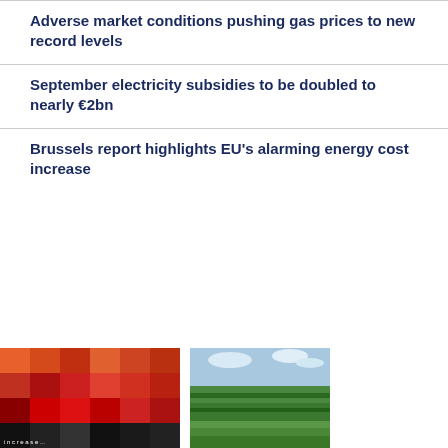Adverse market conditions pushing gas prices to new record levels
September electricity subsidies to be doubled to nearly €2bn
Brussels report highlights EU's alarming energy cost increase
[Figure (photo): Bottom banner image with colored squares/tiles on the left (orange, red, black mosaic pattern) and an aerial landscape photo showing green fields on the right]